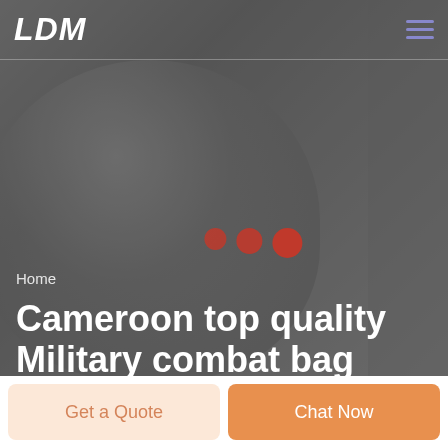[Figure (screenshot): Website hero section with dark greyscale background showing a soldier/military person silhouette]
LDM
Home
Cameroon top quality Military combat bag Supplier
Get a Quote
Chat Now